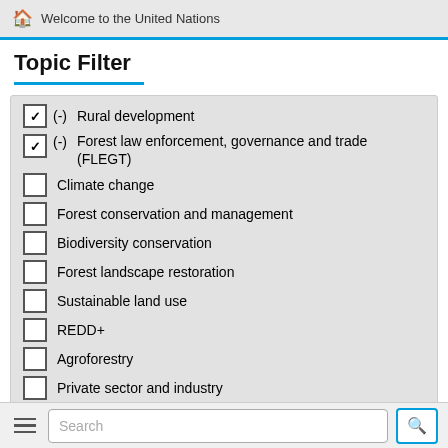Welcome to the United Nations
Topic Filter
(-) Rural development (checked)
(-) Forest law enforcement, governance and trade (FLEGT) (checked)
Climate change
Forest conservation and management
Biodiversity conservation
Forest landscape restoration
Sustainable land use
REDD+
Agroforestry
Private sector and industry
Community forestry
Renewable energy
Forest management certification
Search